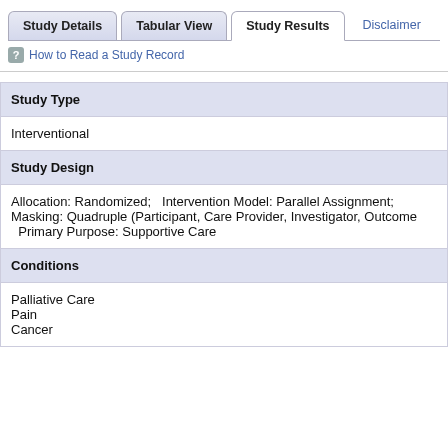Study Details | Tabular View | Study Results | Disclaimer
How to Read a Study Record
| Field | Value |
| --- | --- |
| Study Type | Interventional |
| Study Design | Allocation: Randomized;   Intervention Model: Parallel Assignment; Masking: Quadruple (Participant, Care Provider, Investigator, Outcome   Primary Purpose: Supportive Care |
| Conditions | Palliative Care
Pain
Cancer |